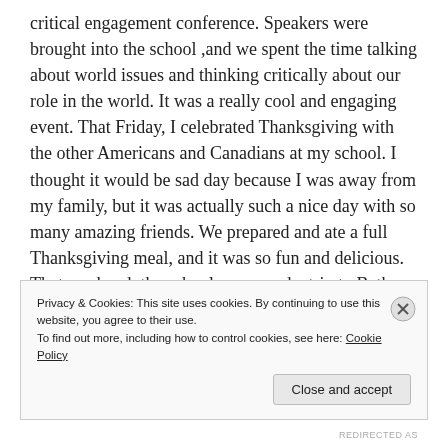critical engagement conference. Speakers were brought into the school ,and we spent the time talking about world issues and thinking critically about our role in the world. It was a really cool and engaging event. That Friday, I celebrated Thanksgiving with the other Americans and Canadians at my school. I thought it would be sad day because I was away from my family, but it was actually such a nice day with so many amazing friends. We prepared and ate a full Thanksgiving meal, and it was so fun and delicious. That weekend, the school sponsored a trip to Bath, England for the day. Bath is famous for its Christmas markets, and it was so
Privacy & Cookies: This site uses cookies. By continuing to use this website, you agree to their use.
To find out more, including how to control cookies, see here: Cookie Policy
Close and accept